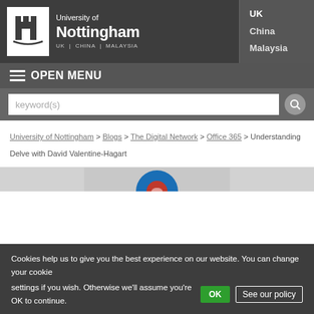[Figure (logo): University of Nottingham logo with castle icon and text: University of Nottingham, UK | CHINA | MALAYSIA]
UK
China
Malaysia
≡ OPEN MENU
keyword(s)
University of Nottingham > Blogs > The Digital Network > Office 365 > Understanding Delve with David Valentine-Hagart
[Figure (screenshot): Partial website hero image showing blue and red circular logo element on gray background]
Cookies help us to give you the best experience on our website. You can change your cookie settings if you wish. Otherwise we'll assume you're OK to continue.